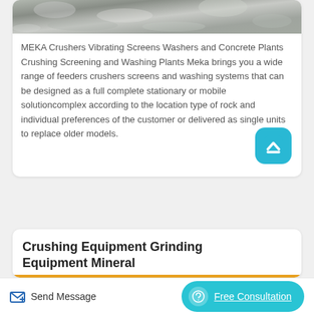[Figure (photo): Aerial or close-up photo of crushed rocks/stones, grey and white tones, showing quarry material.]
MEKA Crushers Vibrating Screens Washers and Concrete Plants Crushing Screening and Washing Plants Meka brings you a wide range of feeders crushers screens and washing systems that can be designed as a full complete stationary or mobile solutioncomplex according to the location type of rock and individual preferences of the customer or delivered as single units to replace older models.
Crushing Equipment Grinding Equipment Mineral
Send Message   Free Consultation